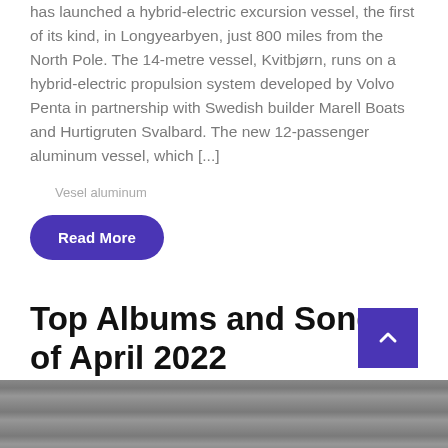has launched a hybrid-electric excursion vessel, the first of its kind, in Longyearbyen, just 800 miles from the North Pole. The 14-metre vessel, Kvitbjørn, runs on a hybrid-electric propulsion system developed by Volvo Penta in partnership with Swedish builder Marell Boats and Hurtigruten Svalbard. The new 12-passenger aluminum vessel, which [...]
Vesel aluminum
Read More
Top Albums and Songs of April 2022
[Figure (photo): Black and white photo strip showing a person's face, partially visible at the bottom of the page]